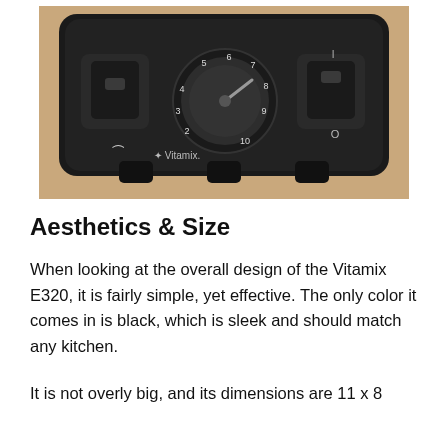[Figure (photo): Close-up photo of a Vitamix E320 blender control panel, showing a speed dial with numbers 2-10, toggle switches on left and right, and the Vitamix logo. The blender is black and sits on a tan/beige surface.]
Aesthetics & Size
When looking at the overall design of the Vitamix E320, it is fairly simple, yet effective. The only color it comes in is black, which is sleek and should match any kitchen.
It is not overly big, and its dimensions are 11 x 8